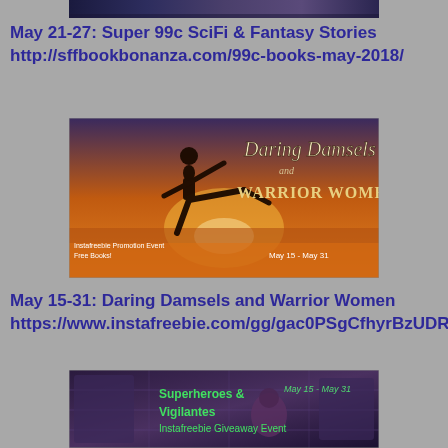[Figure (photo): Top partial banner image with dark purple/blue night sky scene]
May 21-27: Super 99c SciFi & Fantasy Stories http://sffbookbonanza.com/99c-books-may-2018/
[Figure (photo): Daring Damsels and Warrior Women promotional banner - silhouette of woman doing high kick at sunset, Instafreebie Promotion Event Free Books! May 15 - May 31]
May 15-31: Daring Damsels and Warrior Women https://www.instafreebie.com/gg/gac0PSgCfhyrBzUDRJjO
[Figure (photo): Superheroes & Vigilantes Instafreebie Giveaway Event May 15 - May 31 banner with futuristic background]